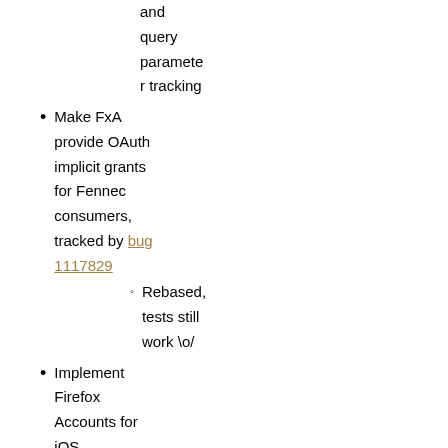and query parameter tracking
Make FxA provide OAuth implicit grants for Fennec consumers, tracked by bug 1117829
Rebased, tests still work \o/
Implement Firefox Accounts for iOS
Tracked